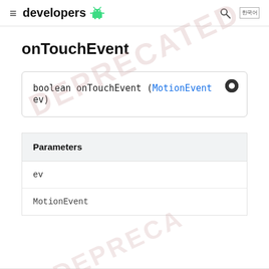≡ developers 🤖 🔍 ⊞
onTouchEvent
boolean onTouchEvent (MotionEvent ev)
| Parameters |
| --- |
| ev |
| MotionEvent |